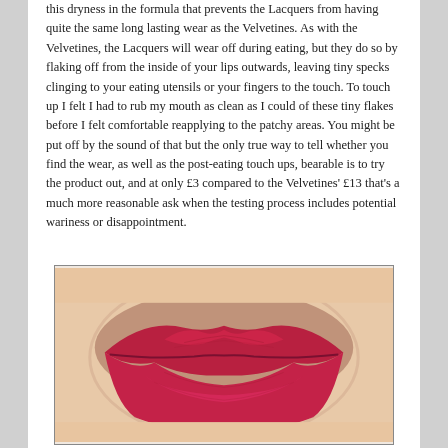this dryness in the formula that prevents the Lacquers from having quite the same long lasting wear as the Velvetines. As with the Velvetines, the Lacquers will wear off during eating, but they do so by flaking off from the inside of your lips outwards, leaving tiny specks clinging to your eating utensils or your fingers to the touch. To touch up I felt I had to rub my mouth as clean as I could of these tiny flakes before I felt comfortable reapplying to the patchy areas. You might be put off by the sound of that but the only true way to tell whether you find the wear, as well as the post-eating touch ups, bearable is to try the product out, and at only £3 compared to the Velvetines' £13 that's a much more reasonable ask when the testing process includes potential wariness or disappointment.
[Figure (photo): Close-up photograph of lips wearing a deep red/crimson matte lipstick, showing the texture and wear of the product.]